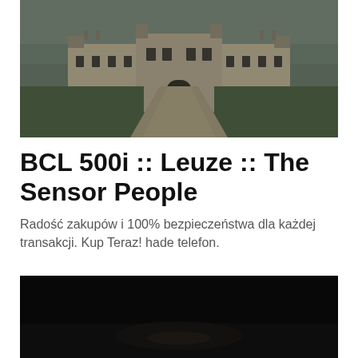[Figure (photo): Photograph of a large French château (castle) with a symmetrical gravel path leading to the entrance, green lawns on either side, overcast sky.]
BCL 500i :: Leuze :: The Sensor People
Radość zakupów i 100% bezpieczeństwa dla każdej transakcji. Kup Teraz! hade telefon.
[Figure (photo): Very dark/nearly black photograph, appears to show a dimly lit outdoor night scene.]